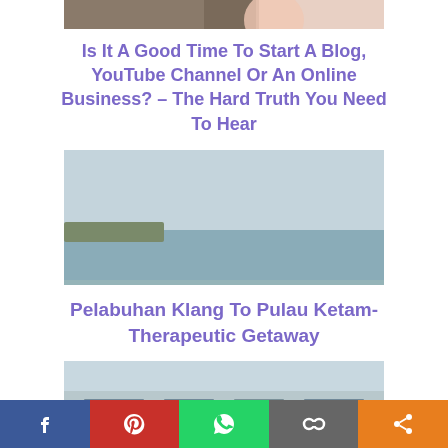[Figure (photo): Partial photo of a person, cut off at top edge]
Is It A Good Time To Start A Blog, YouTube Channel Or An Online Business? – The Hard Truth You Need To Hear
[Figure (photo): Photo of a harbor or waterway with several boats on the water, land visible in the background, and a reddish foreground element at the bottom]
Pelabuhan Klang To Pulau Ketam- Therapeutic Getaway
[Figure (photo): Partial photo of a building exterior, cropped at bottom]
Facebook | Pinterest | WhatsApp | Copy Link | Share